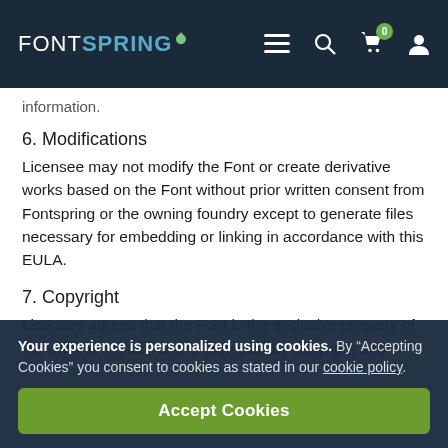FONTSPRING [navigation bar with menu, search, cart (0), account icons]
information.
6. Modifications
Licensee may not modify the Font or create derivative works based on the Font without prior written consent from Fontspring or the owning foundry except to generate files necessary for embedding or linking in accordance with this EULA.
7. Copyright
Licensee agrees that the Font is the exclusive property of the owning foundry and is protected by copyright and
Your experience is personalized using cookies. By “Accepting Cookies” you consent to cookies as stated in our cookie policy.
Accept Cookies